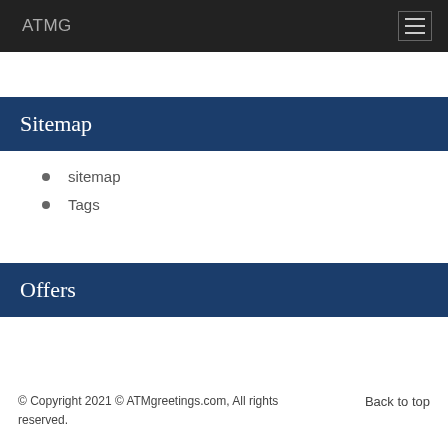ATMG
Sitemap
sitemap
Tags
Offers
© Copyright 2021 © ATMgreetings.com, All rights reserved.   Back to top